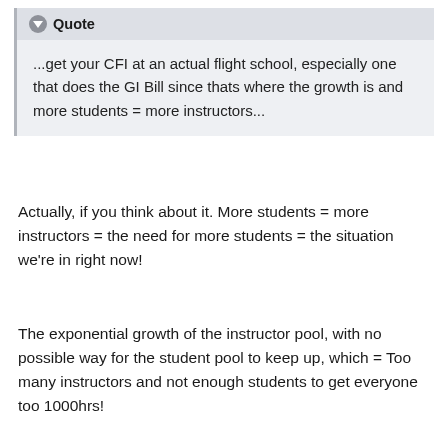Quote
...get your CFI at an actual flight school, especially one that does the GI Bill since thats where the growth is and more students = more instructors...
Actually, if you think about it. More students = more instructors = the need for more students = the situation we're in right now!
The exponential growth of the instructor pool, with no possible way for the student pool to keep up, which = Too many instructors and not enough students to get everyone too 1000hrs!
One good thing you can say about Boatpix is,...if they do actually get their CFIs to 1000hrs, they do it without creating mass quantities of new CFIs!